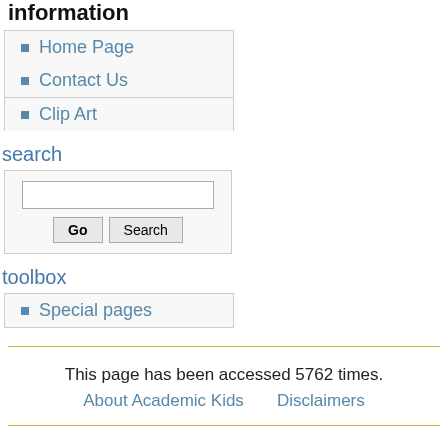information
Home Page
Contact Us
Clip Art
search
toolbox
Special pages
This page has been accessed 5762 times.
About Academic Kids    Disclaimers